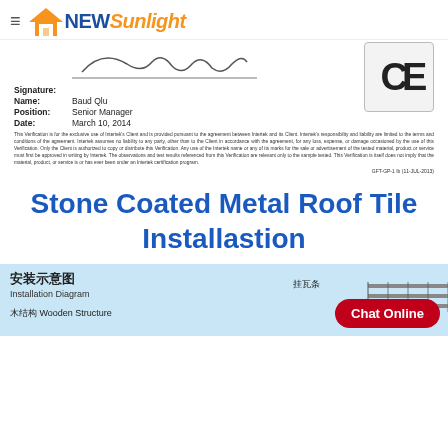NEW Sunlight
[Figure (other): Certification document showing signature, name Baud Qlu, position Senior Manager, date March 10, 2014, with CE mark logo]
Stone Coated Metal Roof Tile Installastion
[Figure (other): Installation diagram panel showing 安装示意图 Installation Diagram with 木结构 Wooden Structure and 挂瓦条 labels, with Chat Online button]